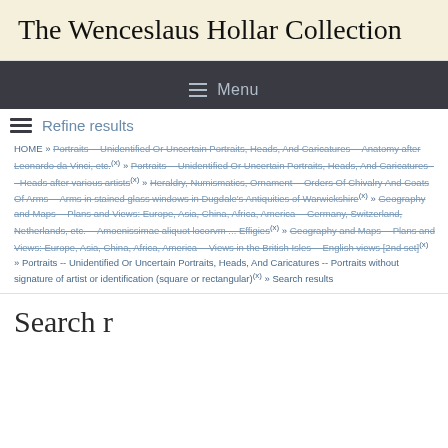The Wenceslaus Hollar Collection
≡ Menu
Refine results
HOME » Portraits -- Unidentified Or Uncertain Portraits, Heads, And Caricatures -- Anatomy after Leonardo da Vinci, etc. (x) » Portraits -- Unidentified Or Uncertain Portraits, Heads, And Caricatures -- Heads after various artists (x) » Heraldry, Numismatics, Ornament -- Orders Of Chivalry And Coats Of Arms -- Arms in stained glass windows in Dugdale's Antiquities of Warwickshire (x) » Geography and Maps -- Plans and Views: Europe, Asia, China, Africa, America -- Germany, Switzerland, Netherlands, etc. -- Amoenissimae aliquot locorvm ... Effigies (x) » Geography and Maps -- Plans and Views: Europe, Asia, China, Africa, America -- Views in the British Isles -- English views [2nd set] (x) » Portraits -- Unidentified Or Uncertain Portraits, Heads, And Caricatures -- Portraits without signature of artist or identification (square or rectangular) (x) » Search results
Search r...